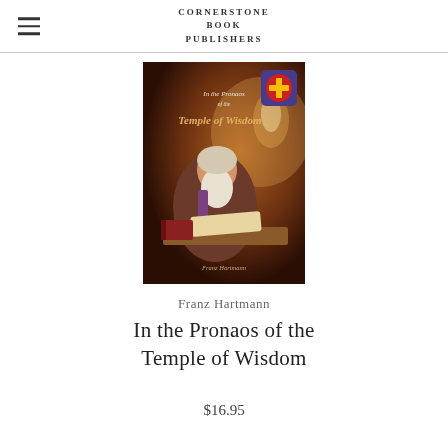Cornerstone Book Publishers
[Figure (illustration): Book cover of 'In the Pronaos of the Temple of Wisdom' by Franz Hartmann, showing an elderly bearded scholar writing at a desk by candlelight, with a decorative cross emblem in the upper right corner.]
Franz Hartmann
In the Pronaos of the Temple of Wisdom
$16.95